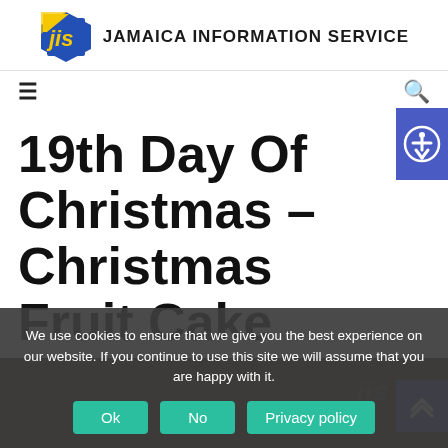JAMAICA INFORMATION SERVICE
19th Day Of Christmas – Christmas Fruit Cake
We use cookies to ensure that we give you the best experience on our website. If you continue to use this site we will assume that you are happy with it.
Ok
No
Privacy policy